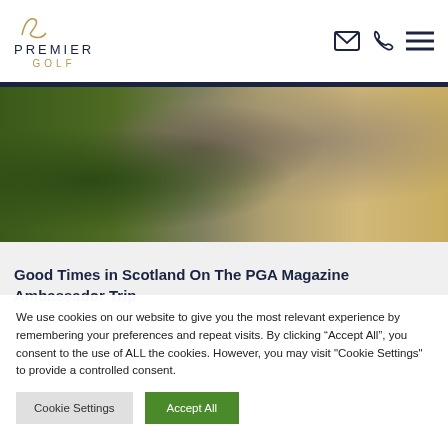Premier Golf
[Figure (photo): Golf course scene with green grass, large rocks and stone path]
Good Times in Scotland On The PGA Magazine Ambassador Trip
We use cookies on our website to give you the most relevant experience by remembering your preferences and repeat visits. By clicking “Accept All”, you consent to the use of ALL the cookies. However, you may visit "Cookie Settings" to provide a controlled consent.